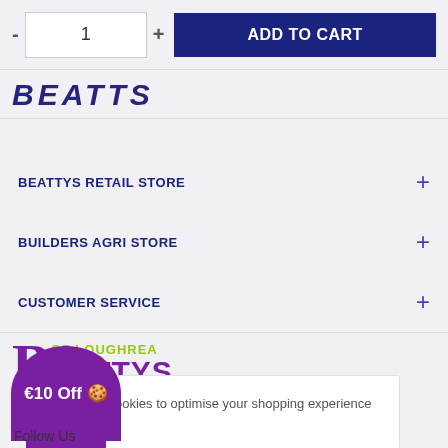- 1 + ADD TO CART
[Figure (logo): Partial Beattys logo text in dark blue italic]
BEATTYS RETAIL STORE +
BUILDERS AGRI STORE +
CUSTOMER SERVICE +
[Figure (logo): Beattys of Loughrea logo with large purple B, green OF LOUGHREA text, purple BEATTYS text]
We use cookies to optimise your shopping experience cookie
€10 Off 🍪
Follow Us